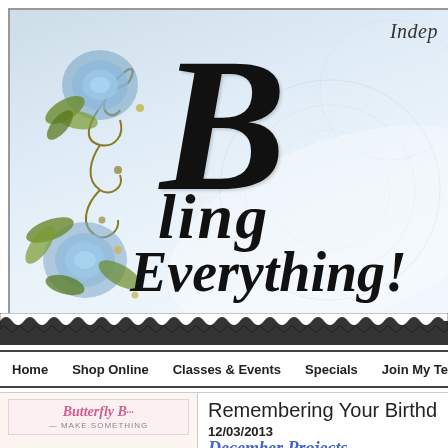[Figure (illustration): Bling Everything! blog banner with decorative script text, blue roses, gold swirls, and lace border. Text reads 'Indep' (cropped), big decorative B, 'Bling Everything!']
Home  Shop Online  Classes & Events  Specials  Join My Team
[Figure (illustration): Butterfly Bas... - Make Something craft thumbnail image with pink script text]
Remembering Your Birthda
12/03/2013
December Projects